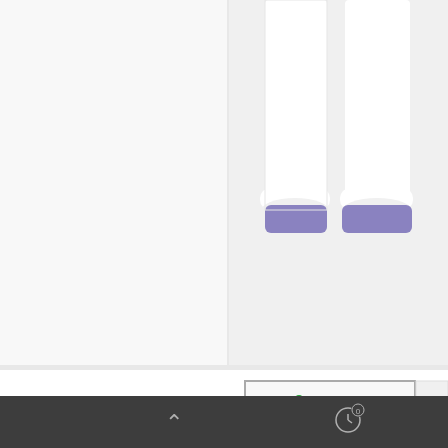[Figure (photo): Product photo of YNA-800 frontal thermometer, white with purple accents, showing bottom portion of device against light grey background]
[Figure (screenshot): Thumbnail carousel showing selected thumbnail of YNA-800 thermometer with left arrow nav button overlaid, and partial second thumbnail on the right with right arrow button]
Thermomètre Frontal Adulte YNA-800
Reference: YNA-800
[Figure (screenshot): Mobile browser bottom navigation bar (dark grey) with up-chevron icon on left and a clock/history icon with badge '0' on right]